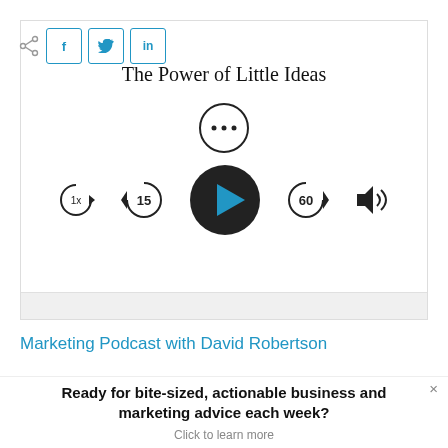[Figure (screenshot): Social share icons: share symbol, Facebook (f), Twitter (bird), LinkedIn (in) buttons]
[Figure (screenshot): Podcast player card with title 'The Power of Little Ideas', ellipsis menu icon, and audio controls: 1x speed, rewind 15, play button, forward 60, volume]
Marketing Podcast with David Robertson
Ready for bite-sized, actionable business and marketing advice each week?
Click to learn more